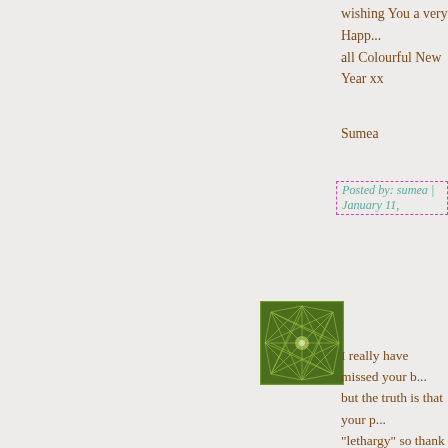wishing You a very Happ... all Colourful New Year xx
Sumea
Posted by: sumea | January 11,
[Figure (illustration): Square avatar image with green geometric star/snowflake pattern on dark green background]
I really have missed your b... but the truth is that your p... "lethargy" so thank you fo... can be dreary, since the Ho... quite on the horizon yet. T... things to some of us... Welcome back!
Posted by: Marie Allen | Janua...
[Figure (illustration): Square avatar image with green flower/sunburst pattern on light background]
Happy New Year! Here is... life too. Douglas looks so... natured he sounds too. I a...